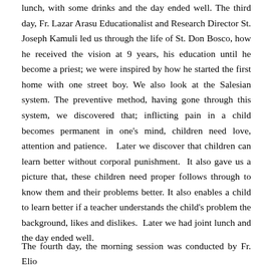lunch, with some drinks and the day ended well. The third day, Fr. Lazar Arasu Educationalist and Research Director St. Joseph Kamuli led us through the life of St. Don Bosco, how he received the vision at 9 years, his education until he become a priest; we were inspired by how he started the first home with one street boy. We also look at the Salesian system. The preventive method, having gone through this system, we discovered that; inflicting pain in a child becomes permanent in one's mind, children need love, attention and patience.  Later we discover that children can learn better without corporal punishment.  It also gave us a picture that, these children need proper follows through to know them and their problems better. It also enables a child to learn better if a teacher understands the child's problem the background, likes and dislikes.  Later we had joint lunch and the day ended well.
The fourth day, the morning session was conducted by Fr. Elio